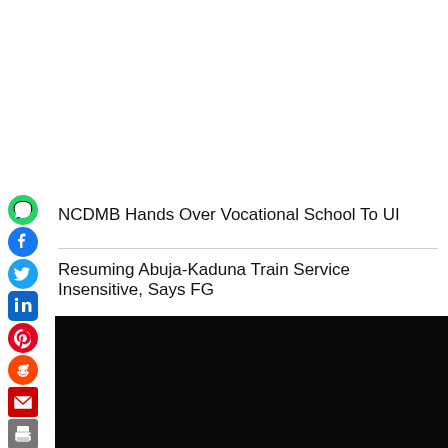[Figure (infographic): Social media share icons sidebar: WhatsApp (green), Facebook (blue), Twitter (blue), LinkedIn (blue), Pinterest (red), Reddit (orange-red), Email (red), Print (gray)]
NCDMB Hands Over Vocational School To UI
Resuming Abuja-Kaduna Train Service Insensitive, Says FG
[Figure (photo): Dark/black image panel]